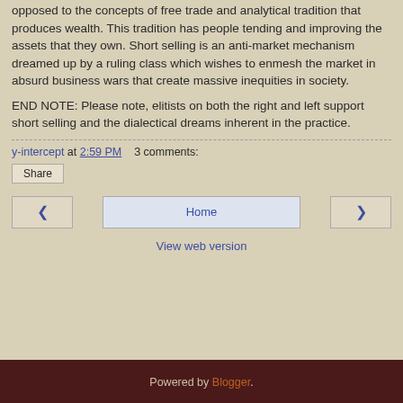opposed to the concepts of free trade and analytical tradition that produces wealth. This tradition has people tending and improving the assets that they own. Short selling is an anti-market mechanism dreamed up by a ruling class which wishes to enmesh the market in absurd business wars that create massive inequities in society.
END NOTE: Please note, elitists on both the right and left support short selling and the dialectical dreams inherent in the practice.
y-intercept at 2:59 PM   3 comments:
Share
◄   Home   ►
View web version
Powered by Blogger.